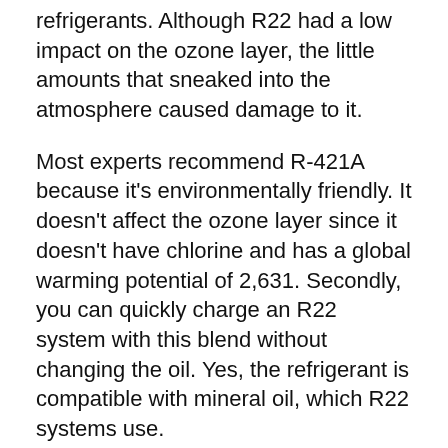refrigerants. Although R22 had a low impact on the ozone layer, the little amounts that sneaked into the atmosphere caused damage to it.
Most experts recommend R-421A because it's environmentally friendly. It doesn't affect the ozone layer since it doesn't have chlorine and has a global warming potential of 2,631. Secondly, you can quickly charge an R22 system with this blend without changing the oil. Yes, the refrigerant is compatible with mineral oil, which R22 systems use.
So, what else do you need to know about R-421A?